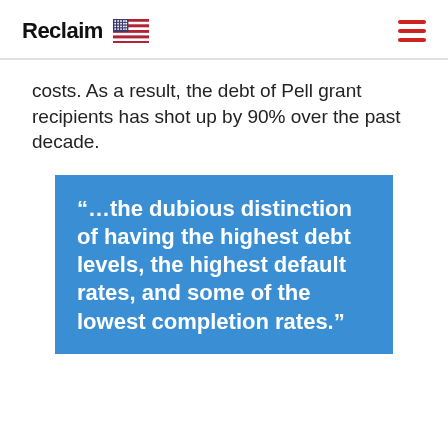Reclaim
costs. As a result, the debt of Pell grant recipients has shot up by 90% over the past decade.
“…the dubious distinction of having the highest debt levels, the highest default rates, and some of the lowest completion rates.”